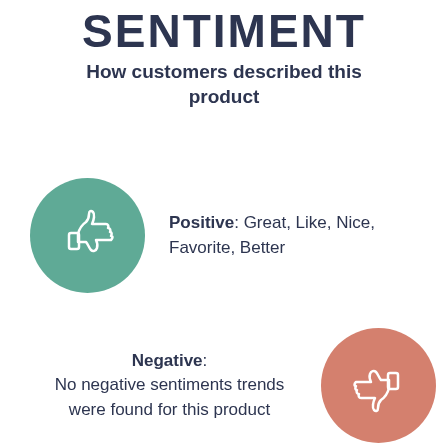SENTIMENT
How customers described this product
[Figure (infographic): Green circle with white thumbs-up icon representing positive sentiment]
Positive: Great, Like, Nice, Favorite, Better
Negative: No negative sentiments trends were found for this product
[Figure (infographic): Pink/salmon circle with white thumbs-down icon representing negative sentiment]